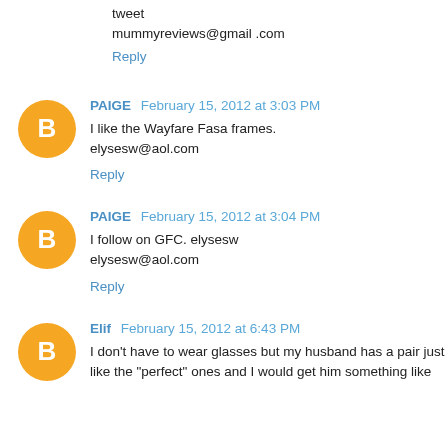tweet
mummyreviews@gmail .com
Reply
PAIGE  February 15, 2012 at 3:03 PM
I like the Wayfare Fasa frames.
elysesw@aol.com
Reply
PAIGE  February 15, 2012 at 3:04 PM
I follow on GFC. elysesw
elysesw@aol.com
Reply
Elif  February 15, 2012 at 6:43 PM
I don't have to wear glasses but my husband has a pair just like the "perfect" ones and I would get him something like